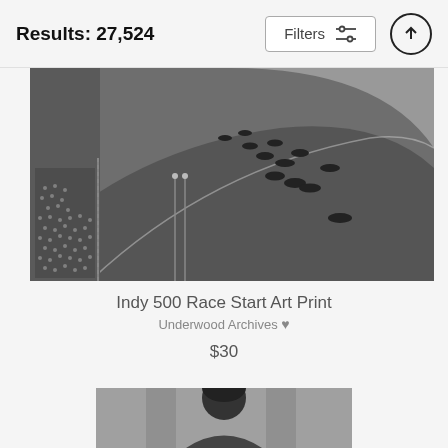Results: 27,524
[Figure (photo): Black and white aerial photograph of racing cars on a curved track at the Indy 500 race start, with a large crowd visible in the stands on the left side.]
Indy 500 Race Start Art Print
Underwood Archives ♡
$30
[Figure (photo): Black and white photograph of a person, partially visible, bottom of the page.]